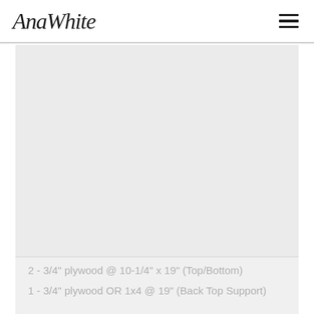AnaWhite
[Figure (other): Large gray placeholder image area]
CUT LIST
2 - 3/4" plywood @ 10-1/4" x 30" (Sides)
2 - 3/4" plywood @ 10-1/4" x 19" (Top/Bottom)
1 - 3/4" plywood OR 1x4 @ 19" (Back Top Support)